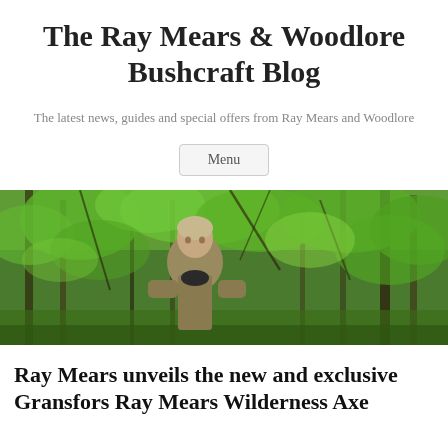The Ray Mears & Woodlore Bushcraft Blog
The latest news, guides and special offers from Ray Mears and Woodlore
Menu
[Figure (photo): Man standing in a green forest, wearing a khaki jacket, looking at the camera. Dense green tree canopy in background.]
Ray Mears unveils the new and exclusive Gransfors Ray Mears Wilderness Axe